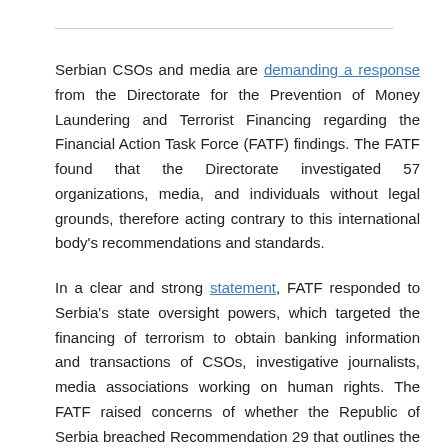Serbian CSOs and media are demanding a response from the Directorate for the Prevention of Money Laundering and Terrorist Financing regarding the Financial Action Task Force (FATF) findings. The FATF found that the Directorate investigated 57 organizations, media, and individuals without legal grounds, therefore acting contrary to this international body's recommendations and standards.
In a clear and strong statement, FATF responded to Serbia's state oversight powers, which targeted the financing of terrorism to obtain banking information and transactions of CSOs, investigative journalists, media associations working on human rights. The FATF raised concerns of whether the Republic of Serbia breached Recommendation 29 that outlines the role and responsibilities of the financial intelligence units, such as the Administration for the Prevention of Money Laundering and the Financing of